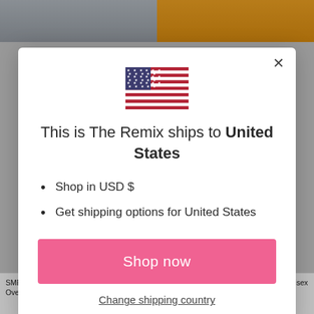[Figure (screenshot): Background product photos: left side shows person in black outfit on grey background, right side shows person in yellow/black outfit on pink background]
This is The Remix ships to United States
Shop in USD $
Get shipping options for United States
Shop now
Change shipping country
SMELLS LIKE BS (Smiley Face) - Oversized T-Shirt Dress
TOO CUTE TO WORRY ABOUT IT - Unisex White Crew Neck